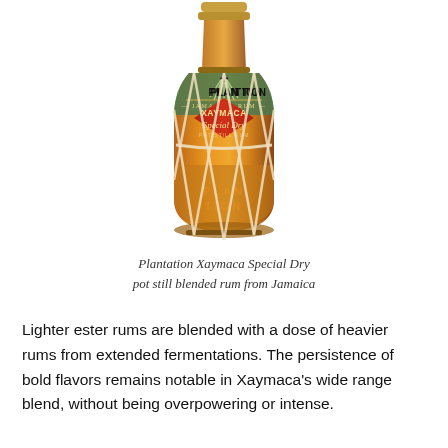[Figure (photo): Bottle of Plantation Xaymaca Special Dry Jamaican Rum, wrapped in a rope net. The bottle has an amber/brown glass, a green and tropical leaf label reading PLANTATION JAMAICAN RUM, with a red diamond label reading XAYMACA Special Dry POT STILL RUM.]
Plantation Xaymaca Special Dry
pot still blended rum from Jamaica
Lighter ester rums are blended with a dose of heavier rums from extended fermentations. The persistence of bold flavors remains notable in Xaymaca’s wide range blend, without being overpowering or intense.